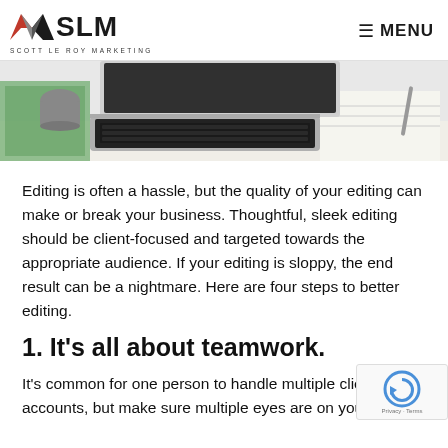SLM SCOTT LE ROY MARKETING | MENU
[Figure (photo): Laptop on a desk with notebooks, a mug, and office supplies visible in the background, shot from above/side angle.]
Editing is often a hassle, but the quality of your editing can make or break your business. Thoughtful, sleek editing should be client-focused and targeted towards the appropriate audience. If your editing is sloppy, the end result can be a nightmare. Here are four steps to better editing.
1. It's all about teamwork.
It's common for one person to handle multiple client accounts, but make sure multiple eyes are on your